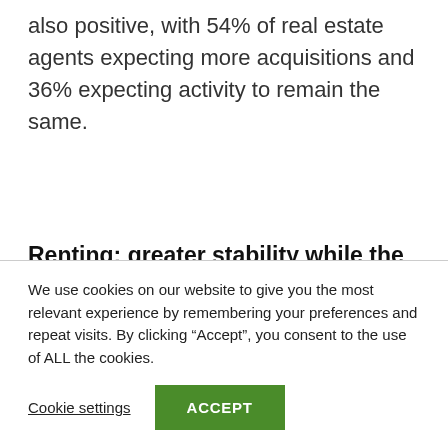also positive, with 54% of real estate agents expecting more acquisitions and 36% expecting activity to remain the same.
Renting: greater stability while the correction of rents continues
The rental market is recovering somewhat more slowly than the sales market, due, among other
We use cookies on our website to give you the most relevant experience by remembering your preferences and repeat visits. By clicking “Accept”, you consent to the use of ALL the cookies.
Cookie settings
ACCEPT